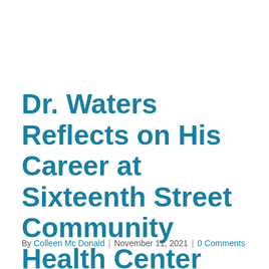Dr. Waters Reflects on His Career at Sixteenth Street Community Health Center
By Colleen Mc Donald | November 11, 2021 | 0 Comments